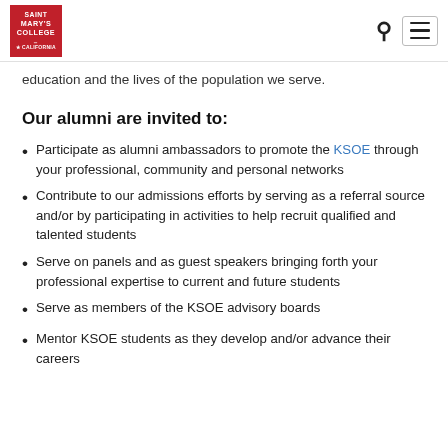Saint Mary's College of California
education and the lives of the population we serve.
Our alumni are invited to:
Participate as alumni ambassadors to promote the KSOE through your professional, community and personal networks
Contribute to our admissions efforts by serving as a referral source and/or by participating in activities to help recruit qualified and talented students
Serve on panels and as guest speakers bringing forth your professional expertise to current and future students
Serve as members of the KSOE advisory boards
Mentor KSOE students as they develop and/or advance their careers